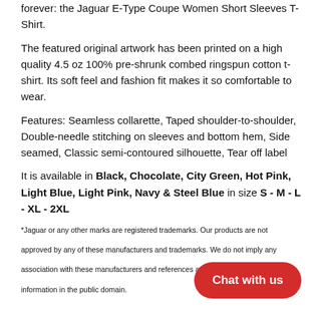forever: the Jaguar E-Type Coupe Women Short Sleeves T-Shirt.

The featured original artwork has been printed on a high quality 4.5 oz 100% pre-shrunk combed ringspun cotton t-shirt. Its soft feel and fashion fit makes it so comfortable to wear.

Features: Seamless collarette, Taped shoulder-to-shoulder, Double-needle stitching on sleeves and bottom hem, Side seamed, Classic semi-contoured silhouette, Tear off label

It is available in Black, Chocolate, City Green, Hot Pink, Light Blue, Light Pink, Navy & Steel Blue in size S - M - L - XL - 2XL
*Jaguar or any other marks are registered trademarks. Our products are not approved by any of these manufacturers and trademarks. We do not imply any association with these manufacturers and references are information in the public domain.